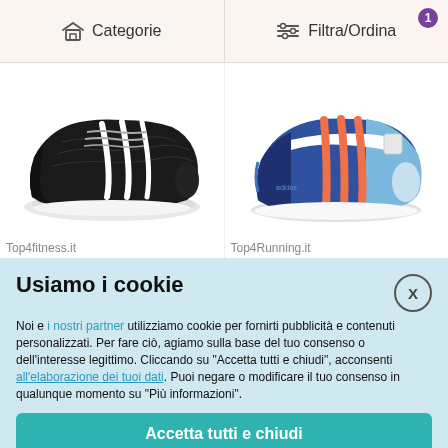[Figure (screenshot): Top navigation bar with two buttons: 'Categorie' with a home icon on left (beige background), and 'Filtra/Ordina' with a filter icon on right (beige background) with a purple badge showing '1']
[Figure (photo): Black Adidas running shoe facing left on white background]
Top4fitness.it
[Figure (photo): White/blue/coral Adidas athletic shoe with velcro strap on white background]
Top4Running.it
Usiamo i cookie
Noi e i nostri partner utilizziamo cookie per fornirti pubblicità e contenuti personalizzati. Per fare ciò, agiamo sulla base del tuo consenso o dell'interesse legittimo. Cliccando su "Accetta tutti e chiudi", acconsenti all'elaborazione dei tuoi dati. Puoi negare o modificare il tuo consenso in qualunque momento su "Più informazioni".
Accetta tutti e chiudi
Più informazioni